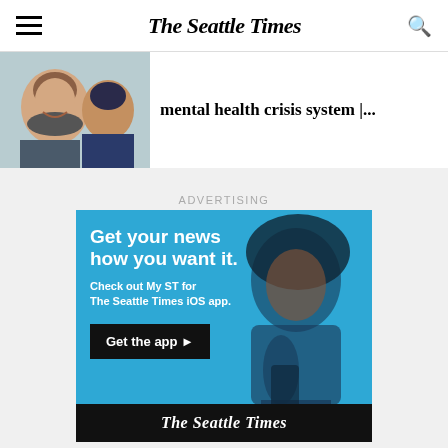The Seattle Times
[Figure (photo): Two people smiling — a woman and a child — cropped article thumbnail]
mental health crisis system |...
ADVERTISING
[Figure (illustration): The Seattle Times iOS app advertisement. Blue background with a smiling woman holding a phone. Text: 'Get your news how you want it. Check out My ST for The Seattle Times iOS app.' Button: 'Get the app ►'. Footer: The Seattle Times logo in black bar.]